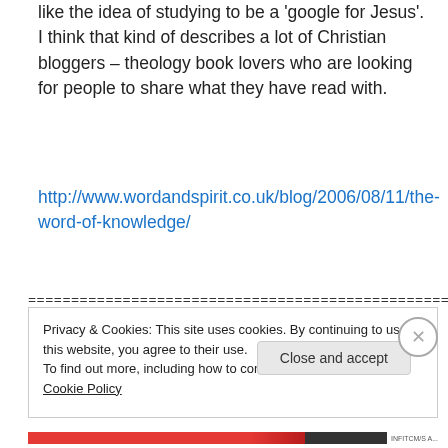like the idea of studying to be a 'google for Jesus'. I think that kind of describes a lot of Christian bloggers – theology book lovers who are looking for people to share what they have read with.
http://www.wordandspirit.co.uk/blog/2006/08/11/the-word-of-knowledge/
======================================================
Privacy & Cookies: This site uses cookies. By continuing to use this website, you agree to their use.
To find out more, including how to control cookies, see here: Cookie Policy